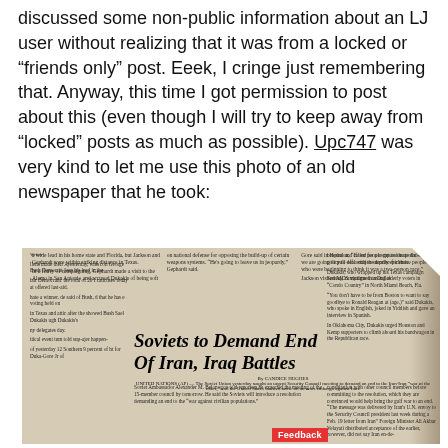discussed some non-public information about an LJ user without realizing that it was from a locked or “friends only” post. Eeek, I cringe just remembering that. Anyway, this time I got permission to post about this (even though I will try to keep away from “locked” posts as much as possible). Upc747 was very kind to let me use this photo of an old newspaper that he took:
[Figure (photo): Photo of an old newspaper with headline 'Soviets to Demand End Of Iran, Iraq Battles' by Candice Hughes, UNITED NATIONS (AP). The newspaper shows multiple columns of text and appears worn/aged.]